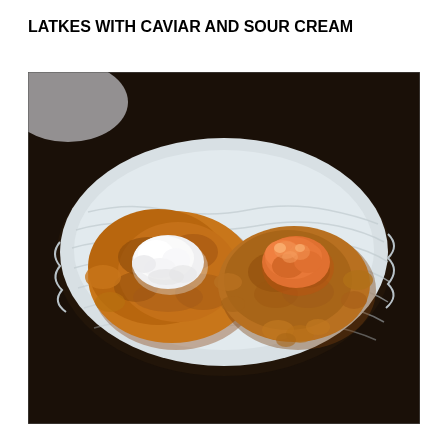LATKES WITH CAVIAR AND SOUR CREAM
[Figure (photo): Overhead photo of two golden-brown potato latkes on a white rippled ceramic plate against a dark background. The left latke is topped with a dollop of white sour cream. The right latke is topped with a mound of orange-pink caviar/salmon roe.]